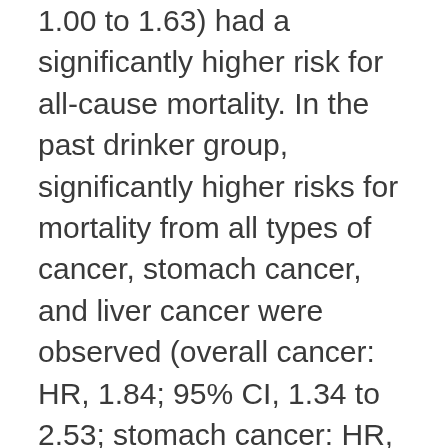1.00 to 1.63) had a significantly higher risk for all-cause mortality. In the past drinker group, significantly higher risks for mortality from all types of cancer, stomach cancer, and liver cancer were observed (overall cancer: HR, 1.84; 95% CI, 1.34 to 2.53; stomach cancer: HR, 2.30; 95% CI, 1.17 to 4.51; liver cancer: HR, 3.18; 95%